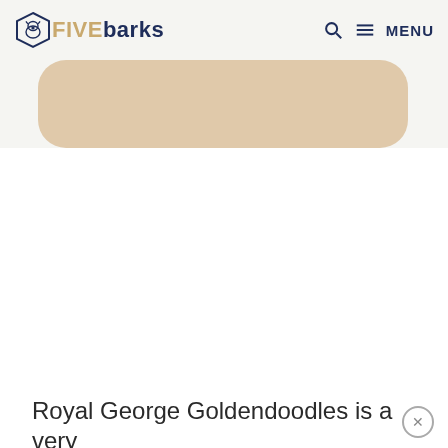FIVEbarks — MENU
[Figure (other): Beige rounded rectangle hero image placeholder area]
Royal George Goldendoodles is a very small home breeding operation that